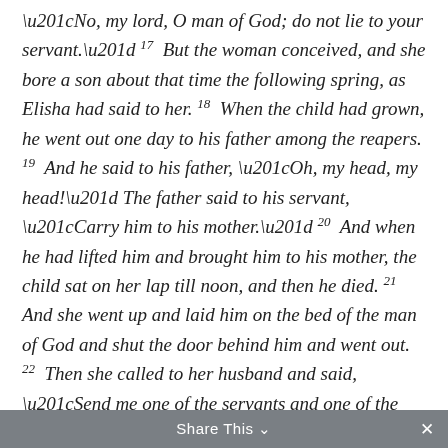“No, my lord, O man of God; do not lie to your servant.” 17 But the woman conceived, and she bore a son about that time the following spring, as Elisha had said to her. 18 When the child had grown, he went out one day to his father among the reapers. 19 And he said to his father, “Oh, my head, my head!” The father said to his servant, “Carry him to his mother.” 20 And when he had lifted him and brought him to his mother, the child sat on her lap till noon, and then he died. 21 And she went up and laid him on the bed of the man of God and shut the door behind him and went out. 22 Then she called to her husband and said, “Send me one of the servants and one of the donkeys, that I may quickly go to the man of God and come back again.” 23 And
Share This